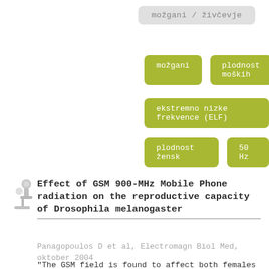[Figure (other): Grey rounded tag button with Slovenian text: možgani / živčevje]
[Figure (other): Green rounded tag buttons: možgani, plodnost moških]
[Figure (other): Green rounded tag button: ekstremno nizke frekvence (ELF)]
[Figure (other): Green rounded tag buttons: plodnost žensk, 50 Hz]
Effect of GSM 900-MHz Mobile Phone radiation on the reproductive capacity of Drosophila melanogaster
Panagopoulos D et al, Electromagn Biol Med, oktober 2004
"The GSM field is found to affect both females and males. Our results suggest